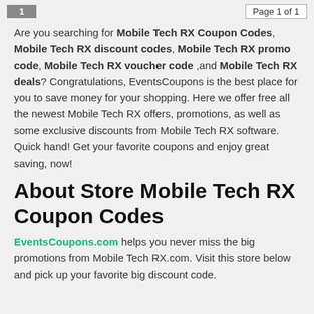1   Page 1 of 1
Are you searching for Mobile Tech RX Coupon Codes, Mobile Tech RX discount codes, Mobile Tech RX promo code, Mobile Tech RX voucher code ,and Mobile Tech RX deals? Congratulations, EventsCoupons is the best place for you to save money for your shopping. Here we offer free all the newest Mobile Tech RX offers, promotions, as well as some exclusive discounts from Mobile Tech RX software. Quick hand! Get your favorite coupons and enjoy great saving, now!
About Store Mobile Tech RX Coupon Codes
EventsCoupons.com helps you never miss the big promotions from Mobile Tech RX.com. Visit this store below and pick up your favorite big discount code.